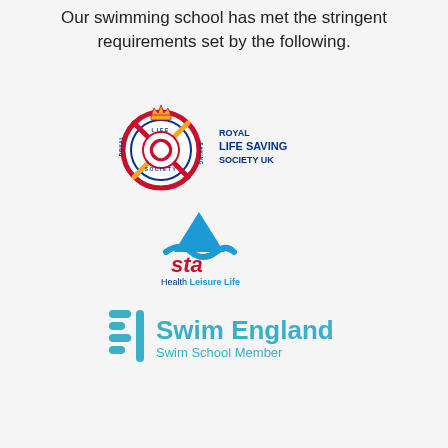Our swimming school has met the stringent requirements set by the following.
[Figure (logo): Royal Life Saving Society UK logo — circular badge with crown, crossed oars and a life ring, with text 'ROYAL LIFE SAVING SOCIETY UK' beside it]
[Figure (logo): STA (Sports & Technical Aquatics) logo — blue triangle/wave shape with 'sta' in red and tagline 'Health Leisure Life' in blue]
[Figure (logo): Swim England Swim School Member logo — teal wave/SE monogram icon with text 'Swim England' in teal and 'Swim School Member' below]